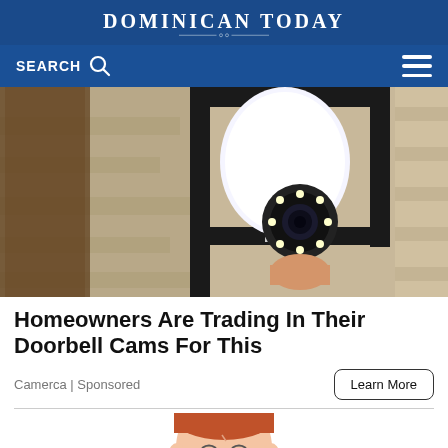DOMINICAN TODAY
[Figure (screenshot): Navigation bar with SEARCH text and search icon on left, hamburger menu icon on right, blue background]
[Figure (photo): Close-up photo of a security camera disguised as a light bulb, mounted in a black metal outdoor light fixture against a stone wall]
Homeowners Are Trading In Their Doorbell Cams For This
Camerca | Sponsored
Learn More
[Figure (illustration): Cartoon illustration of a sad or worried red-haired person, partially cropped at bottom of page]